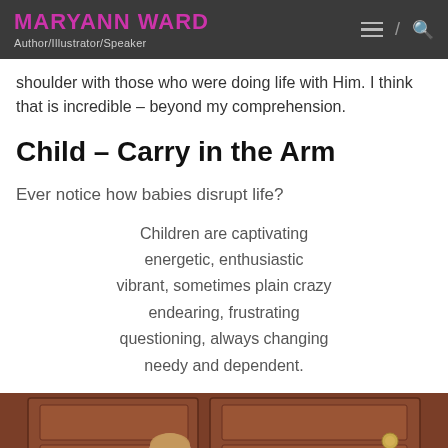MARYANN WARD
Author/Illustrator/Speaker
shoulder with those who were doing life with Him. I think that is incredible – beyond my comprehension.
Child – Carry in the Arm
Ever notice how babies disrupt life?
Children are captivating
energetic, enthusiastic
vibrant, sometimes plain crazy
endearing, frustrating
questioning, always changing
needy and dependent.
[Figure (photo): Photo of a child near a wooden door with a gold door knocker]